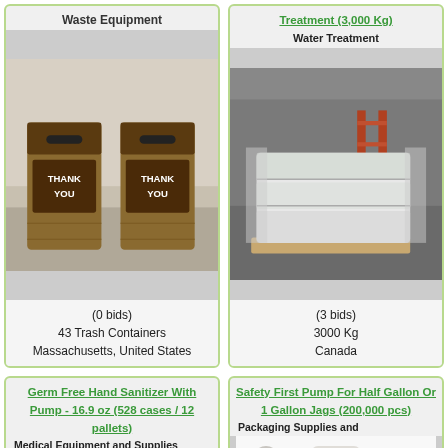Waste Equipment
[Figure (photo): Two wooden trash/recycling containers with 'THANK YOU' signs on the drop slots, photographed in what appears to be a cafeteria or public space.]
(0 bids)
43 Trash Containers
Massachusetts, United States
Treatment (3,000 Kg)
Water Treatment
[Figure (photo): Large shrink-wrapped pallets of white bags/material stacked in a warehouse setting with shelving visible in the background.]
(3 bids)
3000 Kg
Canada
Germ Free Hand Sanitizer With Pump - 16.9 oz (528 cases / 12 pallets)
Medical Equipment and Supplies
[Figure (photo): Close-up of a hand sanitizer pump dispenser bottle, partially visible.]
Safety First Pump For Half Gallon Or 1 Gallon Jags (200,000 pcs)
Packaging Supplies and
[Figure (photo): White pump dispenser for a jug/gallon container, shown against white background.]